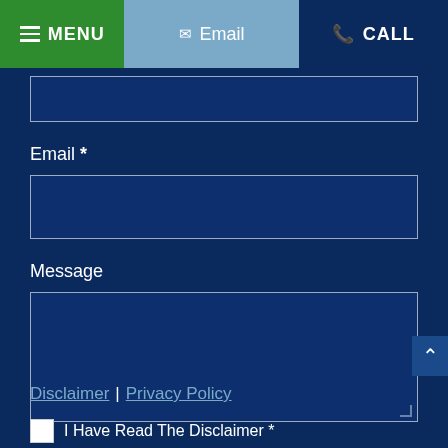MENU | Email | CALL
Email *
Message
Disclaimer | Privacy Policy
I Have Read The Disclaimer *